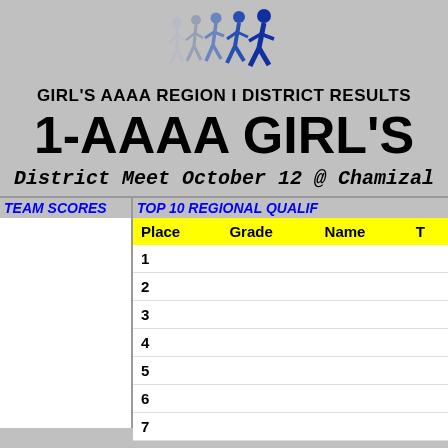[Figure (illustration): Running figures logo — several silhouettes of runners in blue/gray tones]
GIRL'S AAAA REGION I DISTRICT RESULTS
1-AAAA GIRL'S
District Meet October 12 @ Chamizal
| Place | Grade | Name | T |
| --- | --- | --- | --- |
| 1 |  |  |  |
| 2 |  |  |  |
| 3 |  |  |  |
| 4 |  |  |  |
| 5 |  |  |  |
| 6 |  |  |  |
| 7 |  |  |  |